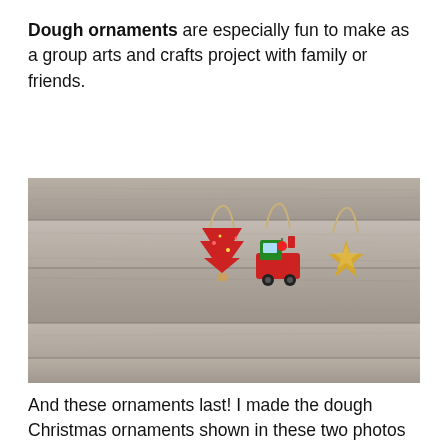Dough ornaments are especially fun to make as a group arts and crafts project with family or friends.
[Figure (photo): Three Christmas ornaments laid on a rustic wooden plank surface: a red Christmas tree ornament, a red train ornament, and a gold star ornament, each with a tan/gold string loop for hanging.]
And these ornaments last! I made the dough Christmas ornaments shown in these two photos